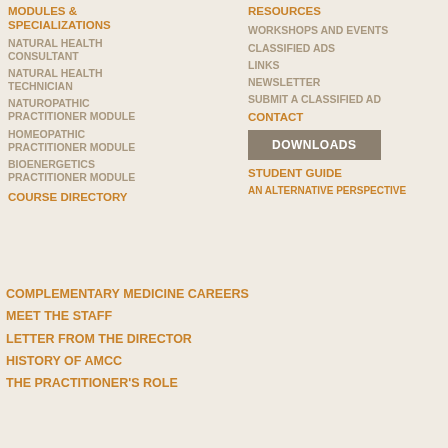MODULES & SPECIALIZATIONS
NATURAL HEALTH CONSULTANT
NATURAL HEALTH TECHNICIAN
NATUROPATHIC PRACTITIONER MODULE
HOMEOPATHIC PRACTITIONER MODULE
BIOENERGETICS PRACTITIONER MODULE
COURSE DIRECTORY
RESOURCES
WORKSHOPS AND EVENTS
CLASSIFIED ADS
LINKS
NEWSLETTER
SUBMIT A CLASSIFIED AD
CONTACT
DOWNLOADS
STUDENT GUIDE
AN ALTERNATIVE PERSPECTIVE
COMPLEMENTARY MEDICINE CAREERS
MEET THE STAFF
LETTER FROM THE DIRECTOR
HISTORY OF AMCC
THE PRACTITIONER'S ROLE